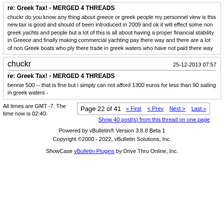re: Greek Tax! - MERGED 4 THREADS
chuckr do you know any thing about greece or greek people my personnel view is this new tax is good and should of been introduced in 2009 and ok it will effect some non greek yachts and people but a lot of this is all about having a proper financial stability in Greece and finally making commercial yachting pay there way and there are a lot of non Greek boats who ply there trade in greek waters who have not paid there way
chuckr  25-12-2013 07:57
re: Greek Tax! - MERGED 4 THREADS
bennie 500 -- that is fine but i simply can not afford 1300 euros for less than 90 sailing in greek waters -
All times are GMT -7. The time now is 02:40.
Page 22 of 41
Show 40 post(s) from this thread on one page
Powered by vBulletin® Version 3.8.8 Beta 1 Copyright ©2000 - 2022, vBulletin Solutions, Inc.
ShowCase vBulletin Plugins by Drive Thru Online, Inc.